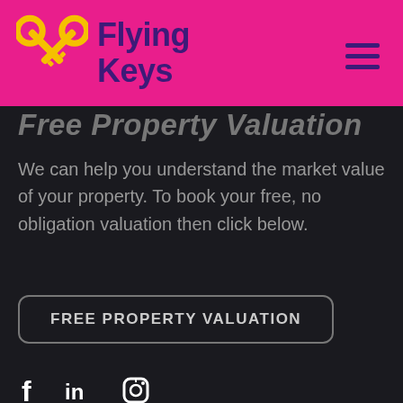[Figure (logo): Flying Keys logo with crossed keys icon in yellow and brand name in dark purple on pink background]
Free Property Valuation
We can help you understand the market value of your property. To book your free, no obligation valuation then click below.
FREE PROPERTY VALUATION
[Figure (other): Social media icons: Facebook (f), LinkedIn (in), Instagram (camera icon)]
Copyright © 2022 Flying Keys Ltd   Privacy Policy